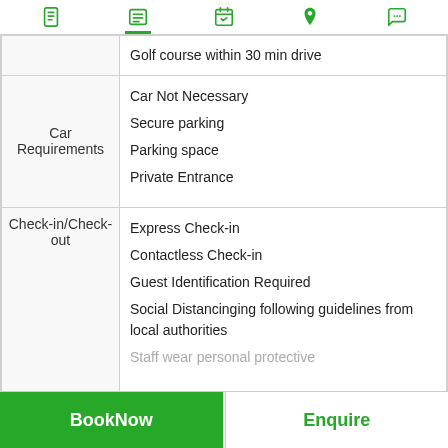Navigation icons: document, list, calendar, location, chat
| Category | Items |
| --- | --- |
|  | Golf course within 30 min drive |
| Car Requirements | Car Not Necessary
Secure parking
Parking space
Private Entrance |
| Check-in/Check-out | Express Check-in
Contactless Check-in
Guest Identification Required
Social Distancinging following guidelines from local authorities
Staff wear personal protective... |
BookNow | Enquire